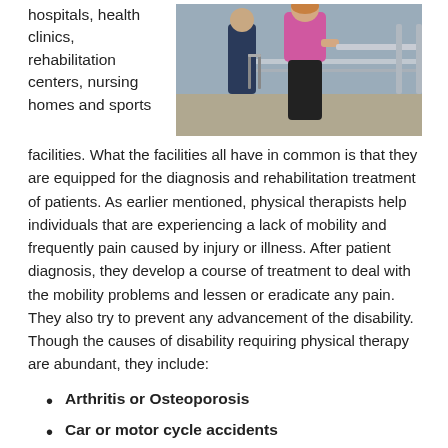hospitals, health clinics, rehabilitation centers, nursing homes and sports
[Figure (photo): Two people in a hallway or rehabilitation facility. A person in dark clothing on the left appears to be using a walker. A woman in a pink/magenta top and dark pants on the right is assisting or walking alongside, holding a railing.]
facilities. What the facilities all have in common is that they are equipped for the diagnosis and rehabilitation treatment of patients. As earlier mentioned, physical therapists help individuals that are experiencing a lack of mobility and frequently pain caused by injury or illness. After patient diagnosis, they develop a course of treatment to deal with the mobility problems and lessen or eradicate any pain. They also try to prevent any advancement of the disability. Though the causes of disability requiring physical therapy are abundant, they include:
Arthritis or Osteoporosis
Car or motor cycle accidents
Head injuries